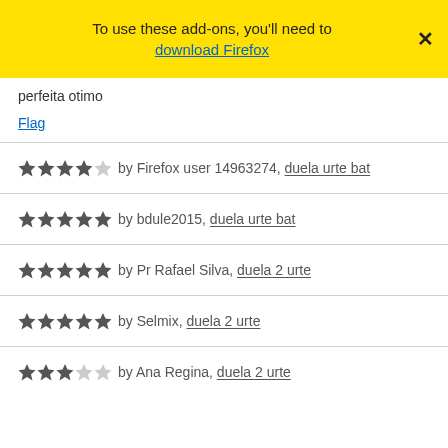To use these add-ons, you'll need to download Firefox
perfeita otimo
Flag
★★★★☆ by Firefox user 14963274, duela urte bat
★★★★★ by bdule2015, duela urte bat
★★★★★ by Pr Rafael Silva, duela 2 urte
★★★★★ by Selmix, duela 2 urte
★★★☆☆ by Ana Regina, duela 2 urte